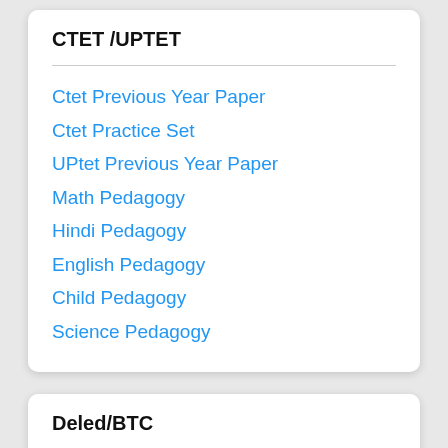CTET /UPTET
Ctet Previous Year Paper
Ctet Practice Set
UPtet Previous Year Paper
Math Pedagogy
Hindi Pedagogy
English Pedagogy
Child Pedagogy
Science Pedagogy
Deled/BTC
Deled 1st sem  Exam Paper
Deled 2nd sem Exam Paper
Deled 3rd sem  Exam Paper
Deled 4th sem  Exam Paper